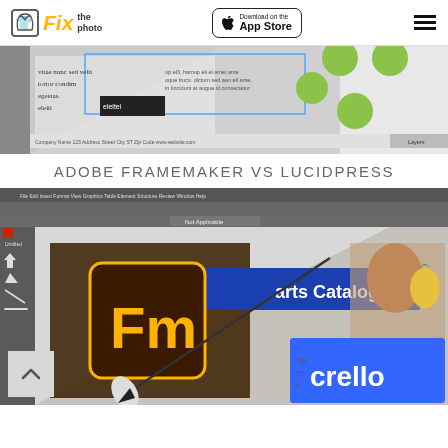Fix the photo | Download on the App Store
[Figure (screenshot): Screenshot showing a design/layout software interface with green circles and text placeholder layout]
ADOBE FRAMEMAKER VS LUCIDPRESS
[Figure (screenshot): Adobe FrameMaker application screenshot with Fm logo on dark background, stylus/pen illustration, and Crello branding with a woman holding a pineapple]